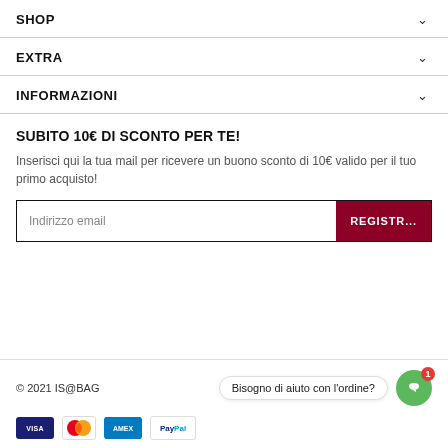SHOP
EXTRA
INFORMAZIONI
SUBITO 10€ DI SCONTO PER TE!
Inserisci qui la tua mail per ricevere un buono sconto di 10€ valido per il tuo primo acquisto!
Indirizzo email   REGISTR...
© 2021 IS@BAG   Bisogno di aiuto con l'ordine?